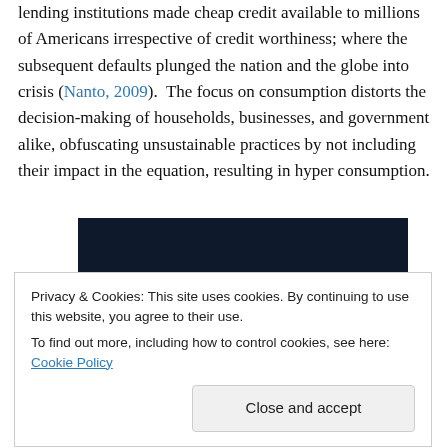lending institutions made cheap credit available to millions of Americans irrespective of credit worthiness; where the subsequent defaults plunged the nation and the globe into crisis (Nanto, 2009).  The focus on consumption distorts the decision-making of households, businesses, and government alike, obfuscating unsustainable practices by not including their impact in the equation, resulting in hyper consumption.
[Figure (screenshot): Partial screenshot of a webpage with a dark navy background, a pink/magenta horizontal bar element at the bottom left, and a light grey circle at the bottom right.]
Privacy & Cookies: This site uses cookies. By continuing to use this website, you agree to their use.
To find out more, including how to control cookies, see here: Cookie Policy
Close and accept